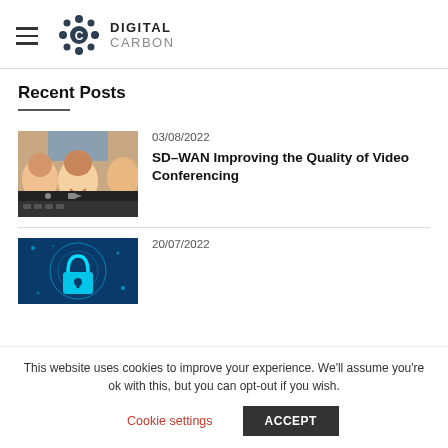Digital Carbon
Recent Posts
[Figure (photo): Video conferencing thumbnail showing people on a laptop screen]
03/08/2022
SD–WAN Improving the Quality of Video Conferencing
[Figure (photo): Cybersecurity concept with glowing padlock on blue digital background]
20/07/2022
This website uses cookies to improve your experience. We'll assume you're ok with this, but you can opt-out if you wish.
Cookie settings
ACCEPT